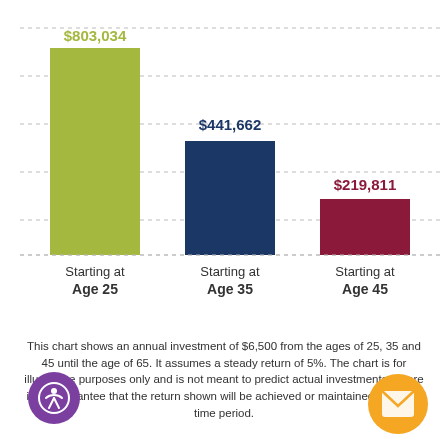[Figure (bar-chart): ]
This chart shows an annual investment of $6,500 from the ages of 25, 35 and 45 until the age of 65. It assumes a steady return of 5%. The chart is for illustrative purposes only and is not meant to predict actual investments. There is no guarantee that the return shown will be achieved or maintained over any time period.